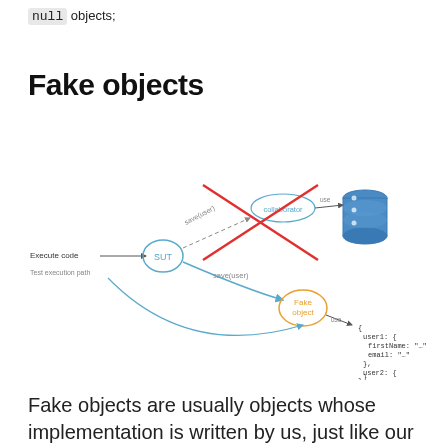null objects;
Fake objects
[Figure (schematic): Diagram showing SUT (System Under Test) connected to a collaborator (which uses a real database) via a crossed-out red path labeled save(user), and connected to a Fake object (which uses an in-memory JSON structure) via a blue arrow labeled save(user). 'Execute code' and 'Test execution path' labels are shown on the left.]
Fake objects are usually objects whose implementation is written by us, just like our code